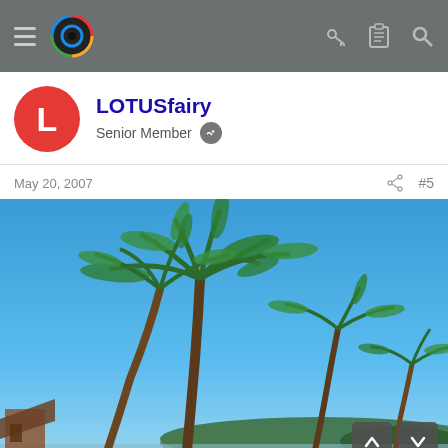Navigation bar with logo and icons
LOTUSfairy
Senior Member
May 20, 2007  #5
[Figure (photo): Tropical beach scene with tall coconut palm trees against a clear blue sky, with a thatched hut structure visible at the lower left and dense trees along the distant shoreline.]